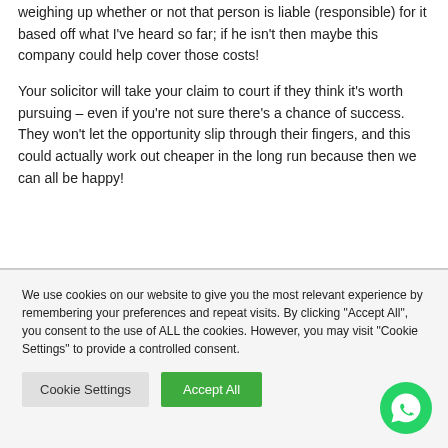weighing up whether or not that person is liable (responsible) for it based off what I've heard so far; if he isn't then maybe this company could help cover those costs!
Your solicitor will take your claim to court if they think it's worth pursuing – even if you're not sure there's a chance of success. They won't let the opportunity slip through their fingers, and this could actually work out cheaper in the long run because then we can all be happy!
We use cookies on our website to give you the most relevant experience by remembering your preferences and repeat visits. By clicking "Accept All", you consent to the use of ALL the cookies. However, you may visit "Cookie Settings" to provide a controlled consent.
Cookie Settings
Accept All